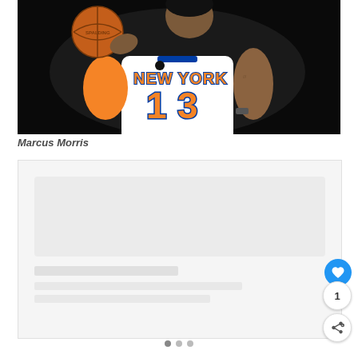[Figure (photo): Marcus Morris, New York Knicks player #13, wearing white Knicks jersey, holding a basketball against dark background]
Marcus Morris
[Figure (photo): Second image placeholder, light gray background, partially visible content with navigation dots at bottom]